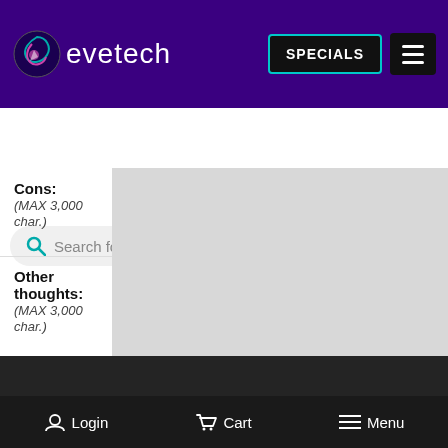[Figure (screenshot): Evetech website header with purple background, logo, SPECIALS button with teal border, and hamburger menu button]
[Figure (screenshot): Search bar with 'Search for a Laptop' placeholder and yellow 'Find a Laptop' button]
Cons: (MAX 3,000 char.)
Other thoughts: (MAX 3,000 char.)
* I have read and agree to abide by the Product Review Guideline
Submit a Review
Login   Cart   Menu